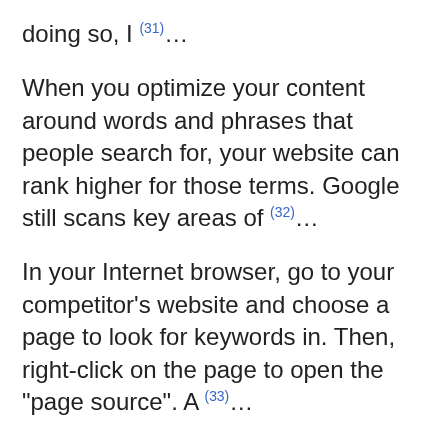doing so, I (31)...
When you optimize your content around words and phrases that people search for, your website can rank higher for those terms. Google still scans key areas of (32)...
In your Internet browser, go to your competitor’s website and choose a page to look for keywords in. Then, right-click on the page to open the “page source”. A (33)...